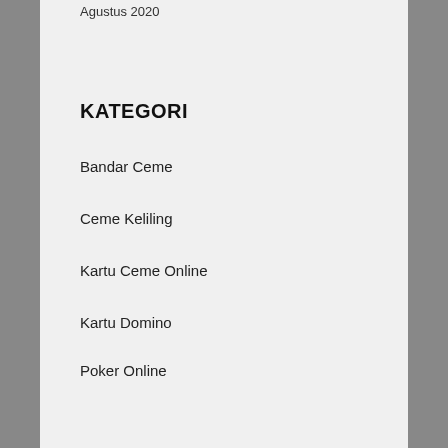Agustus 2020
KATEGORI
Bandar Ceme
Ceme Keliling
Kartu Ceme Online
Kartu Domino
Poker Online